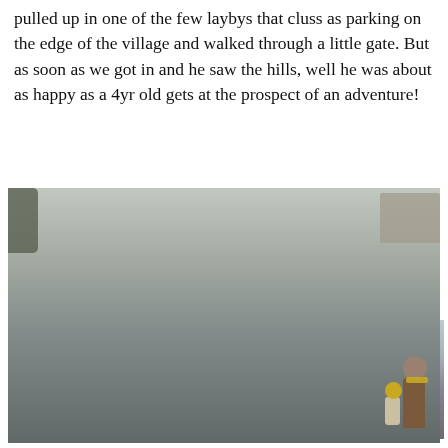pulled up in one of the few laybys that cluss as parking on the edge of the village and walked through a little gate. But as soon as we got in and he saw the hills, well he was about as happy as a 4yr old gets at the prospect of an adventure!
[Figure (photo): Two-row photo collage showing a family on a hillside walk. Top row: left photo shows a silhouette of a child on a hill against a dramatic cloudy sky; right photo shows two young children and a woman walking toward the camera on a grassy slope, children wearing yellow scarves/hats. Bottom row: left photo is a close-up selfie of a woman and a boy both wearing yellow accessories; center photo shows a woman and small child walking away on a trail; right photo shows an older man holding hands with a toddler on a street.]